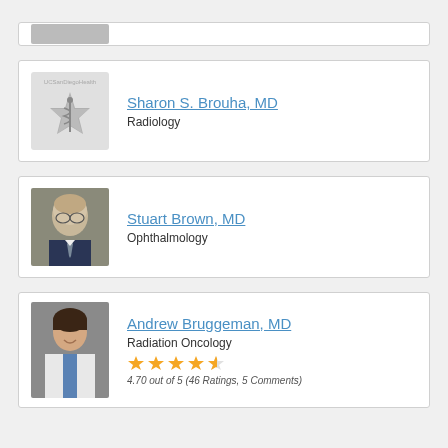[Figure (other): Partial top card showing a doctor photo cropped at top]
Sharon S. Brouha, MD
Radiology
[Figure (photo): UCSD Health logo placeholder with caduceus star-of-life symbol]
Stuart Brown, MD
Ophthalmology
[Figure (photo): Photo of elderly male doctor with glasses in suit]
Andrew Bruggeman, MD
Radiation Oncology
[Figure (other): 4.5 star rating display]
4.70 out of 5 (46 Ratings, 5 Comments)
[Figure (photo): Photo of young male doctor in white coat smiling]